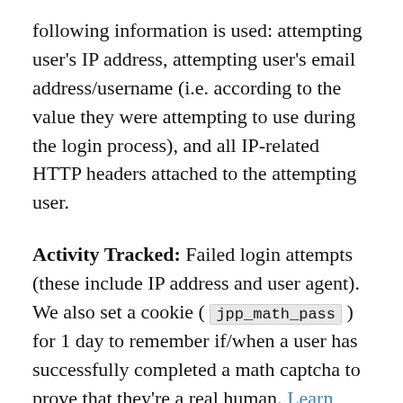following information is used: attempting user's IP address, attempting user's email address/username (i.e. according to the value they were attempting to use during the login process), and all IP-related HTTP headers attached to the attempting user.
Activity Tracked: Failed login attempts (these include IP address and user agent). We also set a cookie ( jpp_math_pass ) for 1 day to remember if/when a user has successfully completed a math captcha to prove that they're a real human. Learn more about this cookie.
Data Synced (?): Failed login attempts, which contain the user's IP address, attempted